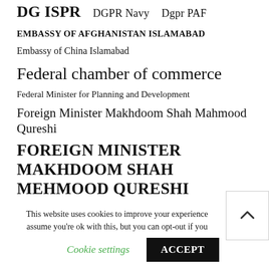DG ISPR   DGPR Navy   Dgpr PAF
EMBASSY OF AFGHANISTAN ISLAMABAD
Embassy of China Islamabad
Federal chamber of commerce
Federal Minister for Planning and Development
Foreign Minister Makhdoom Shah Mahmood Qureshi
FOREIGN MINISTER MAKHDOOM SHAH MEHMOOD QURESHI
Foreign office Islamabad
Indian Illegally Occupied Jammu and Kashmir (IIOJK)
This website uses cookies to improve your experience assume you're ok with this, but you can opt-out if you
Cookie settings   ACCEPT